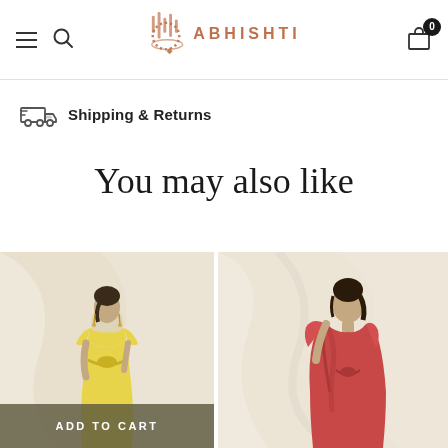Abhishti — Navigation header with menu, search, logo, and cart (0 items)
Shipping & Returns
You may also like
[Figure (photo): Model wearing a yellow short-sleeve draped dress, posed against cream fabric backdrop]
[Figure (photo): Model wearing a red/coral sleeveless draped outfit, posed against cream fabric backdrop]
ADD TO CART